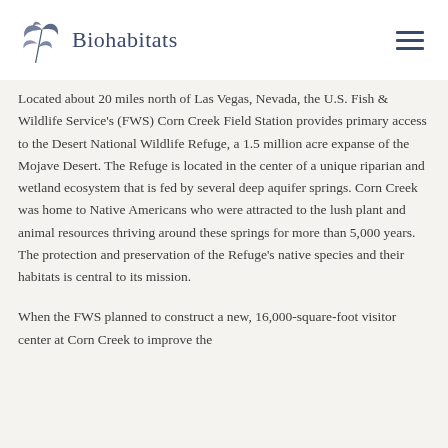Biohabitats
Located about 20 miles north of Las Vegas, Nevada, the U.S. Fish & Wildlife Service's (FWS) Corn Creek Field Station provides primary access to the Desert National Wildlife Refuge, a 1.5 million acre expanse of the Mojave Desert. The Refuge is located in the center of a unique riparian and wetland ecosystem that is fed by several deep aquifer springs. Corn Creek was home to Native Americans who were attracted to the lush plant and animal resources thriving around these springs for more than 5,000 years. The protection and preservation of the Refuge's native species and their habitats is central to its mission.
When the FWS planned to construct a new, 16,000-square-foot visitor center at Corn Creek to improve the